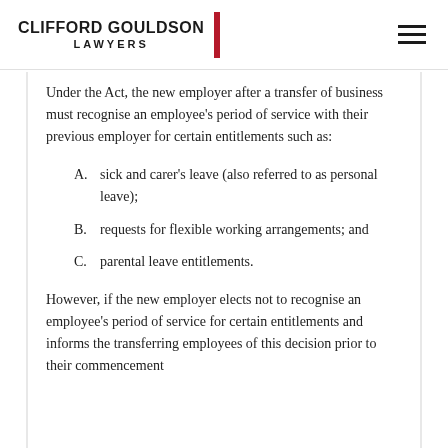CLIFFORD GOULDSON LAWYERS
Under the Act, the new employer after a transfer of business must recognise an employee's period of service with their previous employer for certain entitlements such as:
A. sick and carer's leave (also referred to as personal leave);
B. requests for flexible working arrangements; and
C. parental leave entitlements.
However, if the new employer elects not to recognise an employee's period of service for certain entitlements and informs the transferring employees of this decision prior to their commencement...